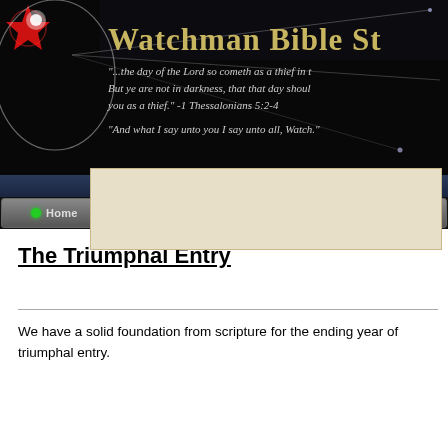[Figure (screenshot): Watchman Bible Study website header banner with dark background, red star/orb graphic, gold title text 'Watchman Bible St...', and italic scripture quotes in grey text about the day of the Lord and watching.]
[Figure (screenshot): Website navigation bar with buttons: Home (green dot), Watch Topics (blue arrow), Bible Studies (blue arrow), Resources.]
The Triumphal Entry
We have a solid foundation from scripture for the ending year of... triumphal entry.
Luke 19:29-44
[Fulfillment of Zechariah 9:9]